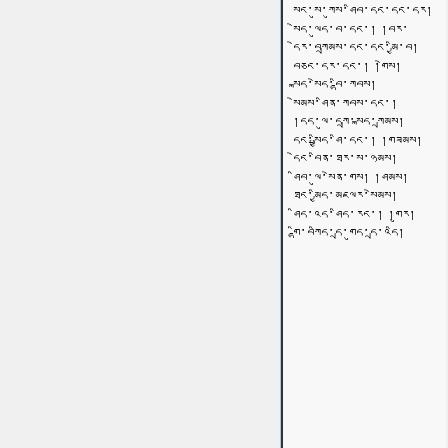སང་སུ་ཀུས་ཤིབ་དང་དང་དར། སེད་ལུད་བ་དང་། །བར་ དེར་བཀྲམས་དང་དང་མྱི་བ། བཅང་དར་དང་། །གེས་ སྐད་སེད་བྷི་ཀབས། སེམས་ཤིན་ཀབས་དང་། །དད་ལུ་དཀྲ་སྐད་ཀྲམས། དང་སྤྱིད་ཤི་དང་། །གཟམས། དེང་སྤྱིད་ཤི་དང་། །གཟམས། དེང་བིན་ཐར་ས་ཉམས། ཤིབ་ལུ་སེན་གས། །ཤམས། ཐང་མྱིད་མཇལར་སེམས། ཤིད་འད་ཤིད་རང་། །གུར། གྷི་བཀིད་དྲ་གུད་དྲ་འདི།